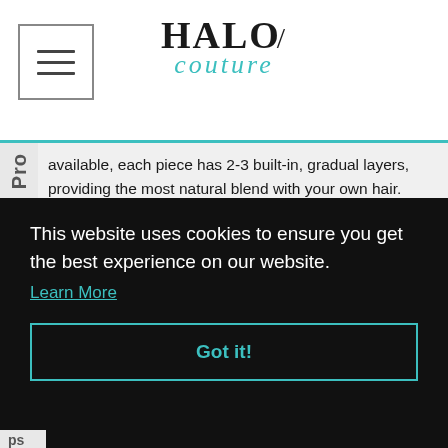[Figure (logo): HALO Couture logo with hamburger menu icon on left]
available, each piece has 2-3 built-in, gradual layers, providing the most natural blend with your own hair. With 30% more grams than The Original HALO®, it provides maximum volume for dense or thick hair.
The beautiful, flowing layers allow shorter styles to be
soft,
This website uses cookies to ensure you get the best experience on our website.
Learn More
Got it!